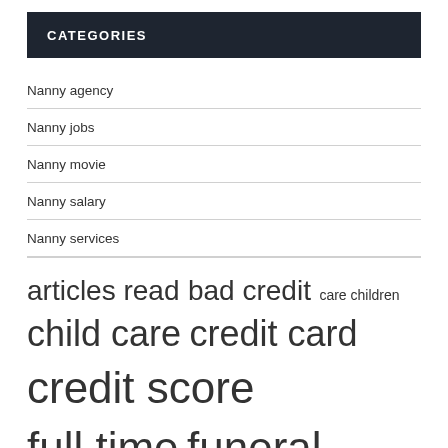CATEGORIES
Nanny agency
Nanny jobs
Nanny movie
Nanny salary
Nanny services
articles read  bad credit  care children  child care  credit card  credit score  full time  funeral home  high school  interest rate  latest news  long term  nanny agency  part time  read related  related articles